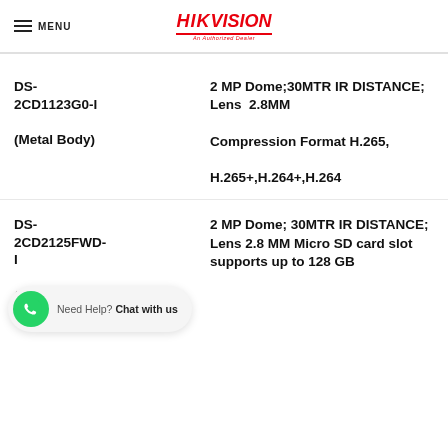MENU | HIKVISION
DS-2CD1123G0-I (Metal Body)
2 MP Dome;30MTR IR DISTANCE; Lens 2.8MM Compression Format H.265, H.265+,H.264+,H.264
DS-2CD2125FWD-I (Metal Body)
2 MP Dome; 30MTR IR DISTANCE; Lens 2.8 MM Micro SD card slot supports up to 128 GB